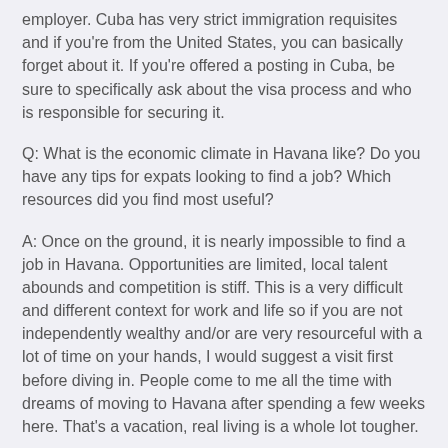employer. Cuba has very strict immigration requisites and if you're from the United States, you can basically forget about it. If you're offered a posting in Cuba, be sure to specifically ask about the visa process and who is responsible for securing it.
Q: What is the economic climate in Havana like? Do you have any tips for expats looking to find a job? Which resources did you find most useful?
A: Once on the ground, it is nearly impossible to find a job in Havana. Opportunities are limited, local talent abounds and competition is stiff. This is a very difficult and different context for work and life so if you are not independently wealthy and/or are very resourceful with a lot of time on your hands, I would suggest a visit first before diving in. People come to me all the time with dreams of moving to Havana after spending a few weeks here. That's a vacation, real living is a whole lot tougher.
Living here full-time, long-term is a whole different ball game. A friend of mine from New York who fell in love with a Cuban.